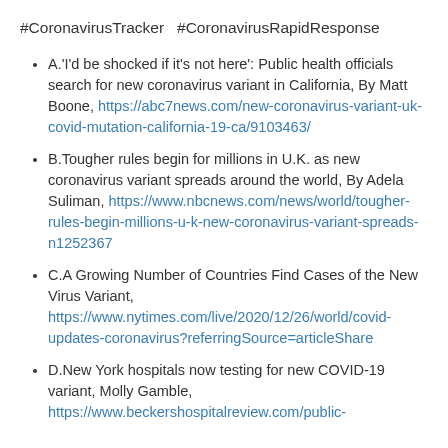#CoronavirusTracker  #CoronavirusRapidResponse
A.'I'd be shocked if it's not here': Public health officials search for new coronavirus variant in California, By Matt Boone, https://abc7news.com/new-coronavirus-variant-uk-covid-mutation-california-19-ca/9103463/
B.Tougher rules begin for millions in U.K. as new coronavirus variant spreads around the world, By Adela Suliman, https://www.nbcnews.com/news/world/tougher-rules-begin-millions-u-k-new-coronavirus-variant-spreads-n1252367
C.A Growing Number of Countries Find Cases of the New Virus Variant, https://www.nytimes.com/live/2020/12/26/world/covid-updates-coronavirus?referringSource=articleShare
D.New York hospitals now testing for new COVID-19 variant, Molly Gamble, https://www.beckershospitalreview.com/public-